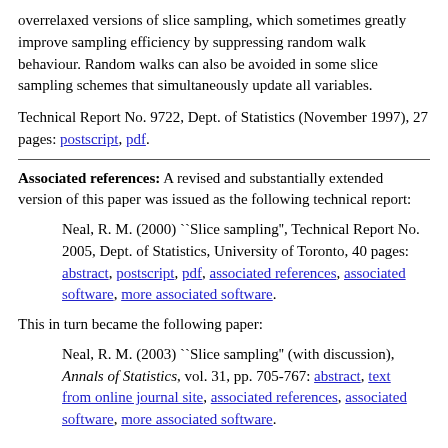overrelaxed versions of slice sampling, which sometimes greatly improve sampling efficiency by suppressing random walk behaviour. Random walks can also be avoided in some slice sampling schemes that simultaneously update all variables.
Technical Report No. 9722, Dept. of Statistics (November 1997), 27 pages: postscript, pdf.
Associated references: A revised and substantially extended version of this paper was issued as the following technical report:
Neal, R. M. (2000) ``Slice sampling'', Technical Report No. 2005, Dept. of Statistics, University of Toronto, 40 pages: abstract, postscript, pdf, associated references, associated software, more associated software.
This in turn became the following paper:
Neal, R. M. (2003) ``Slice sampling'' (with discussion), Annals of Statistics, vol. 31, pp. 705-767: abstract, text from online journal site, associated references, associated software, more associated software.